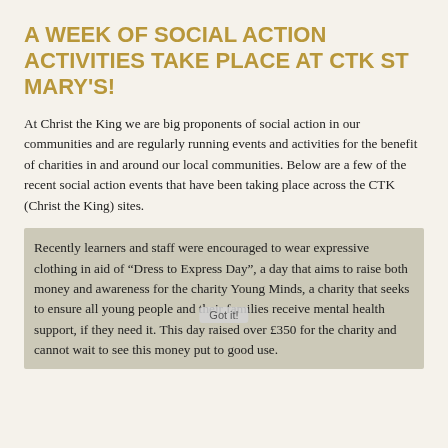A WEEK OF SOCIAL ACTION ACTIVITIES TAKE PLACE AT CTK ST MARY'S!
At Christ the King we are big proponents of social action in our communities and are regularly running events and activities for the benefit of charities in and around our local communities. Below are a few of the recent social action events that have been taking place across the CTK (Christ the King) sites.
Recently learners and staff were encouraged to wear expressive clothing in aid of “Dress to Express Day”, a day that aims to raise both money and awareness for the charity Young Minds, a charity that seeks to ensure all young people and their families receive mental health support, if they need it. This day raised over £350 for the charity and cannot wait to see this money put to good use.